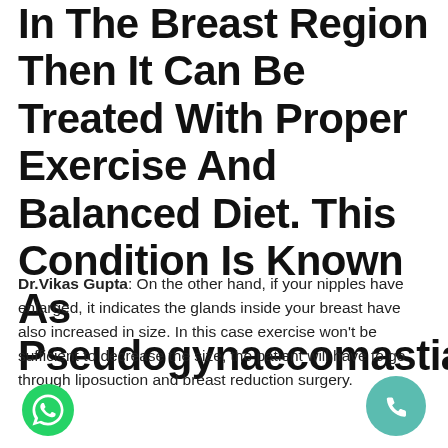In The Breast Region Then It Can Be Treated With Proper Exercise And Balanced Diet. This Condition Is Known As Pseudogynaecomastia.
Dr.Vikas Gupta: On the other hand, if your nipples have enlarged, it indicates the glands inside your breast have also increased in size. In this case exercise won't be sufficient to decrease the size, the patient will have to go through liposuction and breast reduction surgery.
[Figure (logo): WhatsApp green icon at bottom left]
[Figure (logo): Phone call teal icon at bottom right]